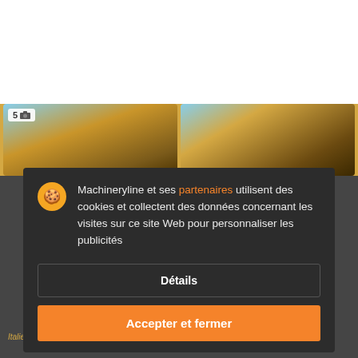[Figure (screenshot): Machinery listing website background showing two yellow construction machine images with photo count badge showing '5' and camera icon]
FAI 160S
9 000 €
Machineryline et ses partenaires utilisent des cookies et collectent des données concernant les visites sur ce site Web pour personnaliser les publicités
Détails
Accepter et fermer